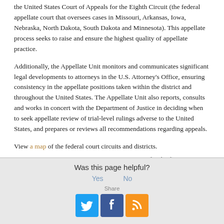the United States Court of Appeals for the Eighth Circuit (the federal appellate court that oversees cases in Missouri, Arkansas, Iowa, Nebraska, North Dakota, South Dakota and Minnesota). This appellate process seeks to raise and ensure the highest quality of appellate practice.
Additionally, the Appellate Unit monitors and communicates significant legal developments to attorneys in the U.S. Attorney’s Office, ensuring consistency in the appellate positions taken within the district and throughout the United States. The Appellate Unit also reports, consults and works in concert with the Department of Justice in deciding when to seek appellate review of trial-level rulings adverse to the United States, and prepares or reviews all recommendations regarding appeals.
View a map of the federal court circuits and districts.
Updated February 26, 2015
Was this page helpful?
Yes   No
Share
[Figure (infographic): Social sharing buttons: Twitter (blue bird icon), Facebook (blue f icon), RSS (orange feed icon)]